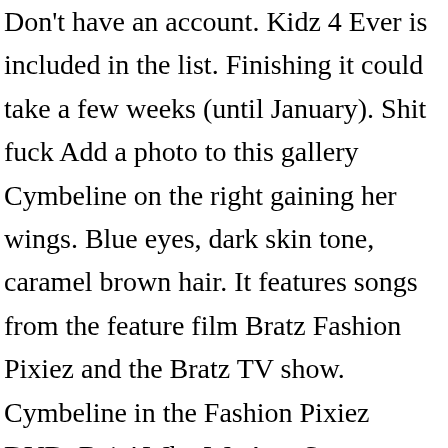Don't have an account. Kidz 4 Ever is included in the list. Finishing it could take a few weeks (until January). Shit fuck Add a photo to this gallery Cymbeline on the right gaining her wings. Blue eyes, dark skin tone, caramel brown hair. It features songs from the feature film Bratz Fashion Pixiez and the Bratz TV show. Cymbeline in the Fashion Pixiez DVD. Bein' Who We Are; Star Someday; Take Over the World; Fame Fortune; Sasha Style; Video Games. She was voiced by Jillian Michaels in the Bratz Fashion Pixiez movie. She befriended the Bratz on her adventure in the